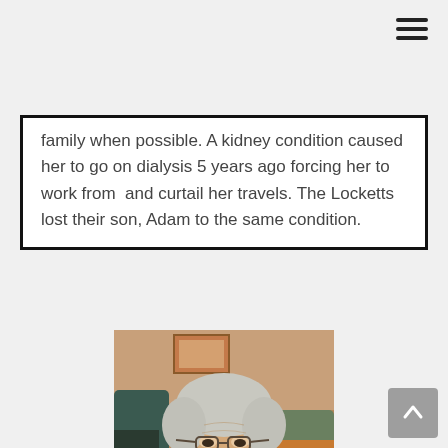family when possible. A kidney condition caused her to go on dialysis 5 years ago forcing her to work from  and curtail her travels. The Locketts lost their son, Adam to the same condition.
[Figure (photo): Close-up photo of an elderly woman with short gray hair wearing glasses and a light yellow shirt with floral embroidery, smiling slightly, seated indoors.]